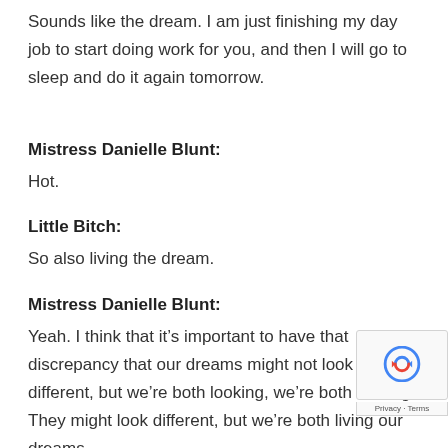Sounds like the dream. I am just finishing my day job to start doing work for you, and then I will go to sleep and do it again tomorrow.
Mistress Danielle Blunt:
Hot.
Little Bitch:
So also living the dream.
Mistress Danielle Blunt:
Yeah. I think that it's important to have that discrepancy that our dreams might not look different, but we're both looking, we're both looking. They might look different, but we're both living our dreams.